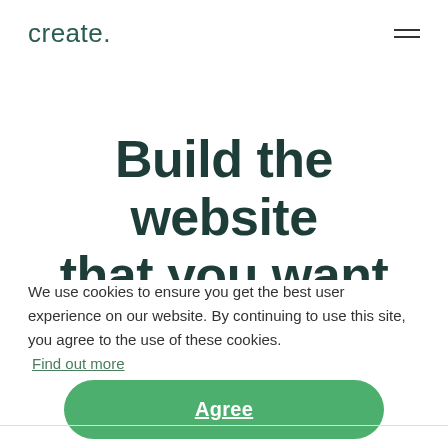create.
Build the website that you want
We use cookies to ensure you get the best user experience on our website. By continuing to use this site, you agree to the use of these cookies. Find out more
cts
l to
Agree